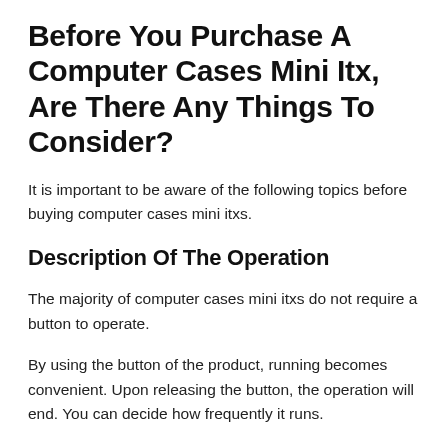Before You Purchase A Computer Cases Mini Itx, Are There Any Things To Consider?
It is important to be aware of the following topics before buying computer cases mini itxs.
Description Of The Operation
The majority of computer cases mini itxs do not require a button to operate.
By using the button of the product, running becomes convenient. Upon releasing the button, the operation will end. You can decide how frequently it runs.
By contrast, a computer cases mini itx that doesn't have a button becomes active. In addition, you can control the number of